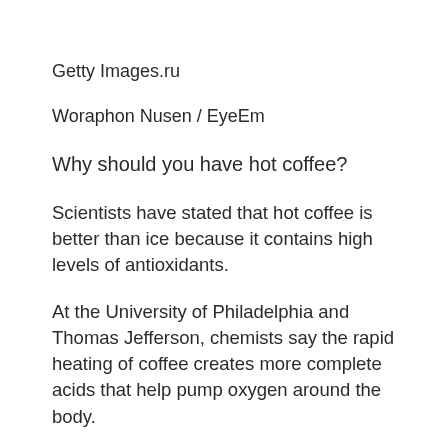Getty Images.ru
Woraphon Nusen / EyeEm
Why should you have hot coffee?
Scientists have stated that hot coffee is better than ice because it contains high levels of antioxidants.
At the University of Philadelphia and Thomas Jefferson, chemists say the rapid heating of coffee creates more complete acids that help pump oxygen around the body.